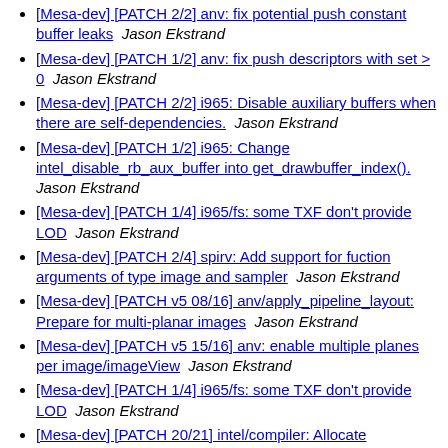[Mesa-dev] [PATCH 2/2] anv: fix potential push constant buffer leaks  Jason Ekstrand
[Mesa-dev] [PATCH 1/2] anv: fix push descriptors with set > 0  Jason Ekstrand
[Mesa-dev] [PATCH 2/2] i965: Disable auxiliary buffers when there are self-dependencies.  Jason Ekstrand
[Mesa-dev] [PATCH 1/2] i965: Change intel_disable_rb_aux_buffer into get_drawbuffer_index().  Jason Ekstrand
[Mesa-dev] [PATCH 1/4] i965/fs: some TXF don't provide LOD  Jason Ekstrand
[Mesa-dev] [PATCH 2/4] spirv: Add support for fuction arguments of type image and sampler  Jason Ekstrand
[Mesa-dev] [PATCH v5 08/16] anv/apply_pipeline_layout: Prepare for multi-planar images  Jason Ekstrand
[Mesa-dev] [PATCH v5 15/16] anv: enable multiple planes per image/imageView  Jason Ekstrand
[Mesa-dev] [PATCH 1/4] i965/fs: some TXF don't provide LOD  Jason Ekstrand
[Mesa-dev] [PATCH 20/21] intel/compiler: Allocate pull_param in assign_constant_locations  Jason Ekstrand
[Mesa-dev] [PATCH] intel/compiler: Make brw_nir_lower_intrinsics compute-specific  Jason Ekstrand
[Mesa-dev] [PATCH 10/21] i965: Only add the wpos state reference if we lowered something.  Jason Ekstrand
[Mesa-dev] [PATCH 1/2] i965: Ch...